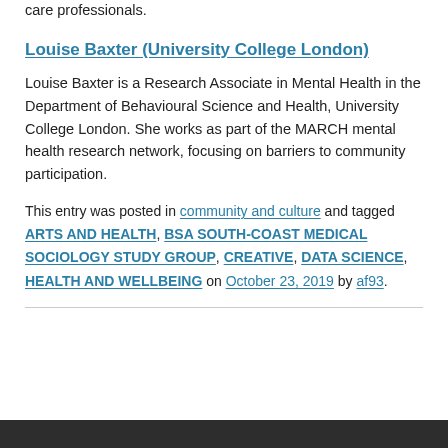care professionals.
Louise Baxter (University College London)
Louise Baxter is a Research Associate in Mental Health in the Department of Behavioural Science and Health, University College London. She works as part of the MARCH mental health research network, focusing on barriers to community participation.
This entry was posted in community and culture and tagged ARTS AND HEALTH, BSA SOUTH-COAST MEDICAL SOCIOLOGY STUDY GROUP, CREATIVE, DATA SCIENCE, HEALTH AND WELLBEING on October 23, 2019 by af93.